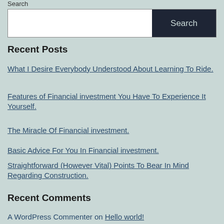Search
Recent Posts
What I Desire Everybody Understood About Learning To Ride.
Features of Financial investment You Have To Experience It Yourself.
The Miracle Of Financial investment.
Basic Advice For You In Financial investment.
Straightforward (However Vital) Points To Bear In Mind Regarding Construction.
Recent Comments
A WordPress Commenter on Hello world!